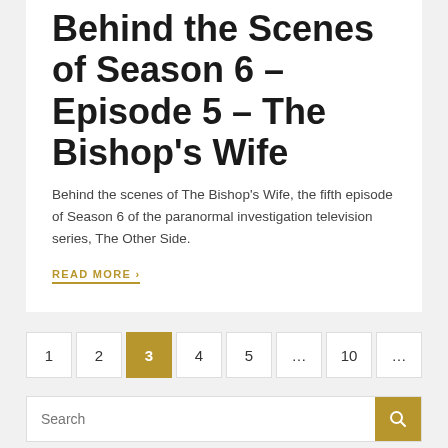Behind the Scenes of Season 6 – Episode 5 – The Bishop's Wife
Behind the scenes of The Bishop's Wife, the fifth episode of Season 6 of the paranormal investigation television series, The Other Side.
READ MORE ›
1 2 3 4 5 … 10 …
Search
RECENT POSTS